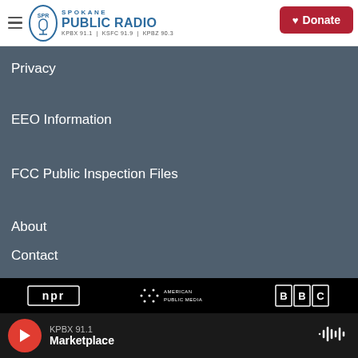Spokane Public Radio — KPBX 91.1 | KSFC 91.9 | KPBZ 90.3
Privacy
EEO Information
FCC Public Inspection Files
About
Contact
[Figure (logo): NPR logo]
[Figure (logo): American Public Media logo]
[Figure (logo): BBC logo]
[Figure (logo): NB logo (partial)]
[Figure (logo): PRX logo (partial)]
[Figure (logo): wfmt logo (partial)]
KPBX 91.1 Marketplace